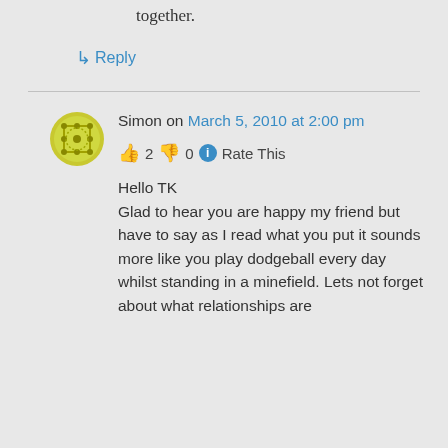together.
↳ Reply
Simon on March 5, 2010 at 2:00 pm
👍 2 👎 0 ℹ Rate This
Hello TK
Glad to hear you are happy my friend but have to say as I read what you put it sounds more like you play dodgeball every day whilst standing in a minefield. Lets not forget about what relationships are